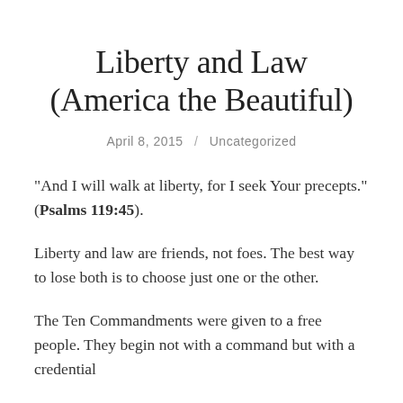Liberty and Law (America the Beautiful)
April 8, 2015 / Uncategorized
“And I will walk at liberty, for I seek Your precepts.” (Psalms 119:45).
Liberty and law are friends, not foes. The best way to lose both is to choose just one or the other.
The Ten Commandments were given to a free people. They begin not with a command but with a credential